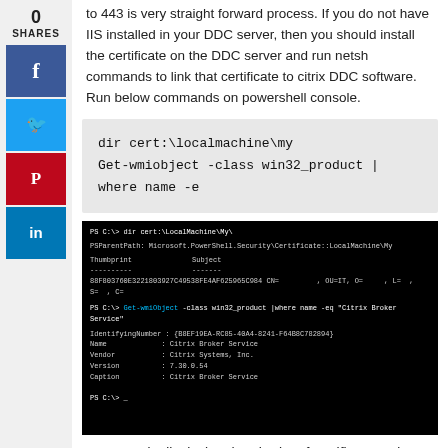to 443 is very straight forward process. If you do not have IIS installed in your DDC server, then you should install the certificate on the DDC server and run netsh commands to link that certificate to citrix DDC software. Run below commands on powershell console.
[Figure (screenshot): Code box showing two PowerShell commands: 'dir cert:\localmachine\my' and 'Get-wmiobject -class win32_product | where name -e']
[Figure (screenshot): Black terminal window showing output of dir cert:\LocalMachine\My\ command with thumbprint and subject columns, then Get-wmiObject command showing Citrix Broker Service details including IdentifyingNumber, Name, Vendor, Version, Caption]
Commands displaying thumbprint of certificate and broker service